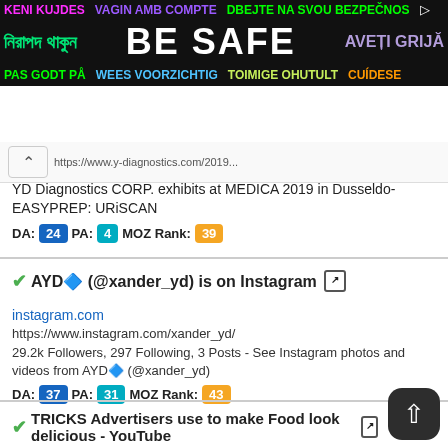[Figure (infographic): Be Safe multilingual banner advertisement with colorful text on black background. Row 1: KENI KUJDES (pink), VAGIN AMB COMPTE (purple), DBEJTE NA SVOU BEZPEČNOS (green). Row 2: Bengali text (green), BE SAFE (white large), AVEȚI GRIJĂ (purple). Row 3: PAS GODT PÅ (green), WEES VOORZICHTIG (blue), TOIMIGE OHUTULT (lime), CUÍDESE (orange).]
https://www.y-diagnostics.com/2019...
YD Diagnostics CORP. exhibits at MEDICA 2019 in Dusseldo-EASYPREP: URiSCAN
DA: 24 PA: 4 MOZ Rank: 39
✔AYD🔷 (@xander_yd) is on Instagram 🔗
instagram.com
https://www.instagram.com/xander_yd/
29.2k Followers, 297 Following, 3 Posts - See Instagram photos and videos from AYD🔷 (@xander_yd)
DA: 37 PA: 31 MOZ Rank: 43
✔TRICKS Advertisers use to make Food look delicious - YouTube 🔗